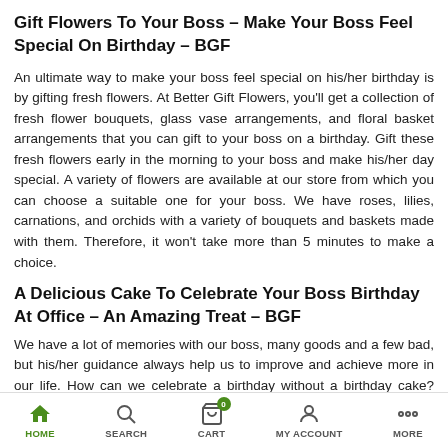Gift Flowers To Your Boss – Make Your Boss Feel Special On Birthday – BGF
An ultimate way to make your boss feel special on his/her birthday is by gifting fresh flowers. At Better Gift Flowers, you'll get a collection of fresh flower bouquets, glass vase arrangements, and floral basket arrangements that you can gift to your boss on a birthday. Gift these fresh flowers early in the morning to your boss and make his/her day special. A variety of flowers are available at our store from which you can choose a suitable one for your boss. We have roses, lilies, carnations, and orchids with a variety of bouquets and baskets made with them. Therefore, it won't take more than 5 minutes to make a choice.
A Delicious Cake To Celebrate Your Boss Birthday At Office – An Amazing Treat – BGF
We have a lot of memories with our boss, many goods and a few bad, but his/her guidance always help us to improve and achieve more in our life. How can we celebrate a birthday without a birthday cake? Give your Boss a yummy treat with the delicious cake when he reaches the office. A birthday cake coupled with beautiful flowers is a perfect gift to make your boss feel special. We suggest you make some special arrangements in the office without him/her noticing anything, that way you'll give him/her a perfect
HOME   SEARCH   CART   MY ACCOUNT   MORE